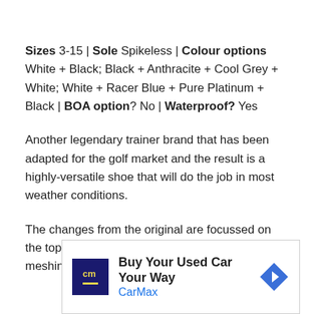Sizes 3-15 | Sole Spikeless | Colour options White + Black; Black + Anthracite + Cool Grey + White; White + Racer Blue + Pure Platinum + Black | BOA option? No | Waterproof? Yes
Another legendary trainer brand that has been adapted for the golf market and the result is a highly-versatile shoe that will do the job in most weather conditions.
The changes from the original are focussed on the top and bottom portions of the Max 90 with meshing covering the
[Figure (other): CarMax advertisement banner: 'Buy Your Used Car Your Way' with CarMax logo and blue navigation arrow icon]